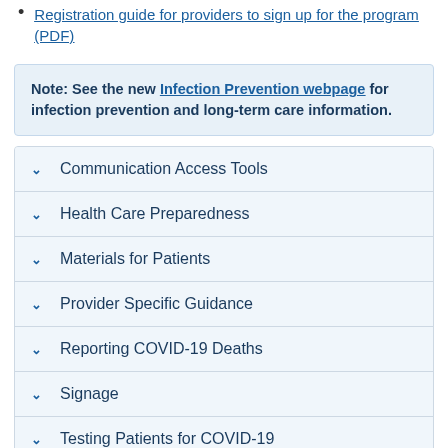Registration guide for providers to sign up for the program (PDF)
Note: See the new Infection Prevention webpage for infection prevention and long-term care information.
Communication Access Tools
Health Care Preparedness
Materials for Patients
Provider Specific Guidance
Reporting COVID-19 Deaths
Signage
Testing Patients for COVID-19